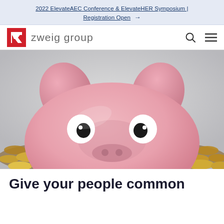2022 ElevateAEC Conference & ElevateHER Symposium | Registration Open →
[Figure (logo): Zweig Group logo: red square with white diagonal arrow/Z shape, followed by 'zweig group' in light gray sans-serif text. Navigation bar with search and hamburger menu icons on right.]
[Figure (photo): Close-up photo of a pink ceramic piggy bank peeking up from a large pile of gold/bronze coins, with wide cartoon-like eyes looking forward. Light gray background.]
Give your people common